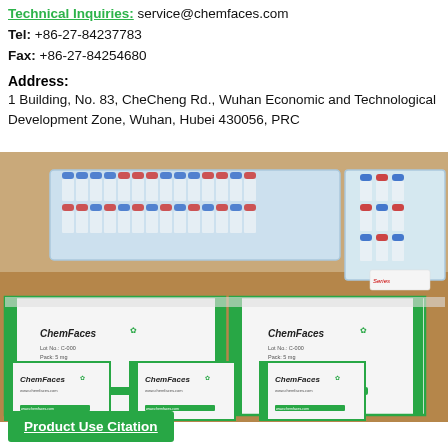Technical Inquiries: service@chemfaces.com
Tel: +86-27-84237783
Fax: +86-27-84254680
Address:
1 Building, No. 83, CheCheng Rd., Wuhan Economic and Technological Development Zone, Wuhan, Hubei 430056, PRC
[Figure (photo): Photo of ChemFaces product boxes (white boxes with green trim and ChemFaces logo) stacked on a table, with rows of blue-capped sample vials visible on top of the boxes.]
Product Use Citation